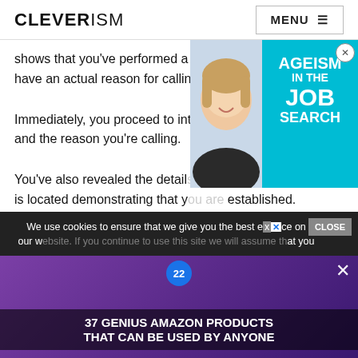CLEVERISM | MENU
shows that you've performed a background check and have an actual reason for calling them.
Immediately, you proceed to introduce the company name and the reason you're calling.
You've also revealed the details of where the head office is located demonstrating that you are established.
In a single introduction line, you
[Figure (photo): Advertisement overlay showing a woman smiling with text 'AGEISM IN THE JOB SEARCH' on a cyan background]
We use cookies to ensure that we give you the best experience on our w... at you
[Figure (photo): Video ad overlay showing purple headphones with text '37 GENIUS AMAZON PRODUCTS THAT CAN BE USED BY ANYONE' and badge '22']